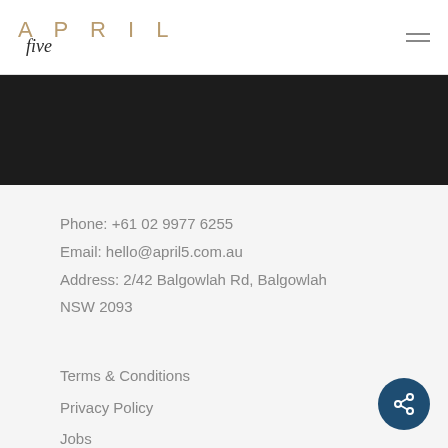APRIL five
[Figure (other): Dark/black horizontal band below header navigation]
Phone: +61 02 9977 6255
Email: hello@april5.com.au
Address: 2/42 Balgowlah Rd, Balgowlah NSW 2093
Terms & Conditions
Privacy Policy
Jobs